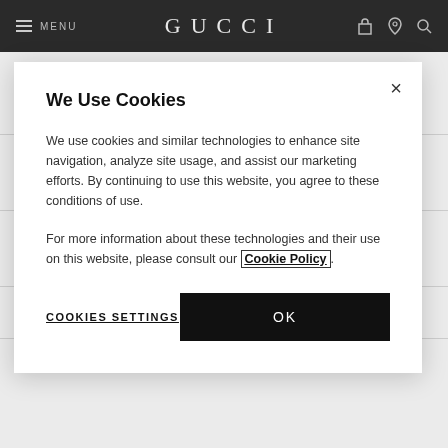MENU  GUCCI
[Figure (screenshot): Gucci website navigation bar with hamburger menu, GUCCI logo, and icons for bag, location, and search]
We Use Cookies
We use cookies and similar technologies to enhance site navigation, analyze site usage, and assist our marketing efforts. By continuing to use this website, you agree to these conditions of use.
For more information about these technologies and their use on this website, please consult our Cookie Policy.
COOKIES SETTINGS
OK
Women's shoes
Women's accessories
Men's accessories